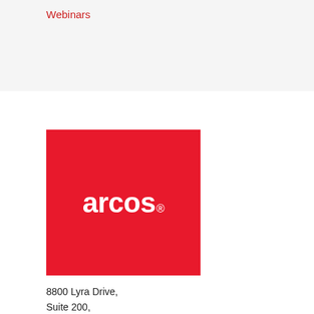Webinars
[Figure (logo): ARCOS company logo — white text 'arcos' with registered trademark symbol on a red square background]
8800 Lyra Drive,
Suite 200,